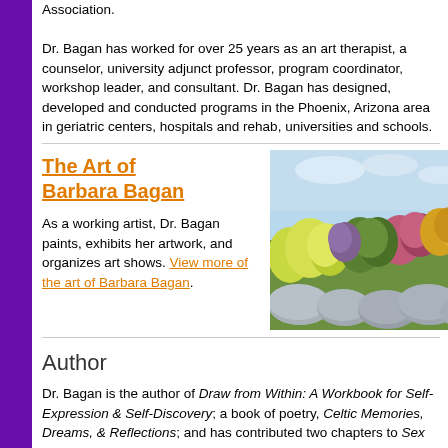Association.
Dr. Bagan has worked for over 25 years as an art therapist, a counselor, university adjunct professor, program coordinator, workshop leader, and consultant. Dr. Bagan has designed, developed and conducted programs in the Phoenix, Arizona area in geriatric centers, hospitals and rehab, universities and schools.
The Art of Barbara Bagan
[Figure (photo): Landscape painting showing colorful bushes with yellow, green, and red foliage in front of large grey rocks, with a light blue sky background.]
As a working artist, Dr. Bagan paints, exhibits her artwork, and organizes art shows. View more of the art of Barbara Bagan.
Author
Dr. Bagan is the author of Draw from Within: A Workbook for Self-Expression & Self-Discovery; a book of poetry, Celtic Memories, Dreams, & Reflections; and has contributed two chapters to Sex Addiction: Case Studies and Management